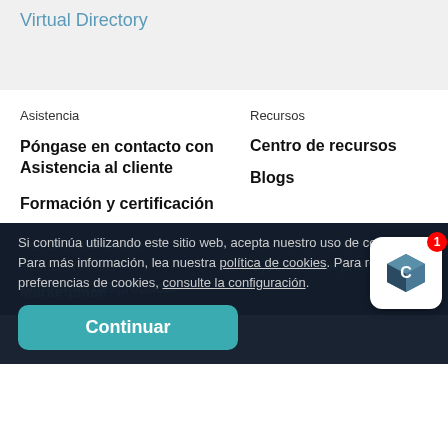Virtual Directory
Asistencia
Recursos
Póngase en contacto con Asistencia al cliente
Centro de recursos
Blogs
Formación y certificación
La visión de los CISO
Asistencia al cliente
CyberArk Blueprint
Reinforce su red
Seguridad del producto
Marketplace
Si continúa utilizando este sitio web, acepta nuestro uso de cookies. Para más información, lea nuestra política de cookies. Para revisar las preferencias de cookies, consulte la configuración.
[Figure (logo): CyberArk chat widget icon with notification badge showing 1]